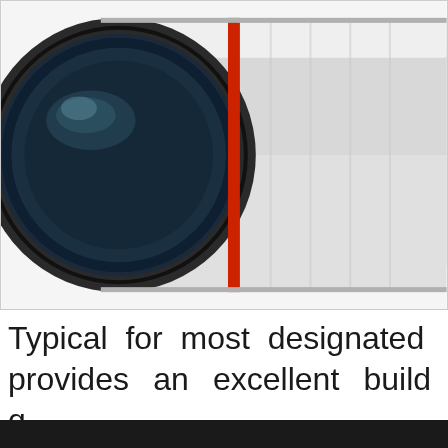[Figure (photo): Close-up photo of a white camera lens with red accent ring, black front element, on a white background, partially cropped showing top and right side]
Typical for most designated provides an excellent build q metal body and smoothly ope The physical length remains focus action. The front eleme focusing system so using a p